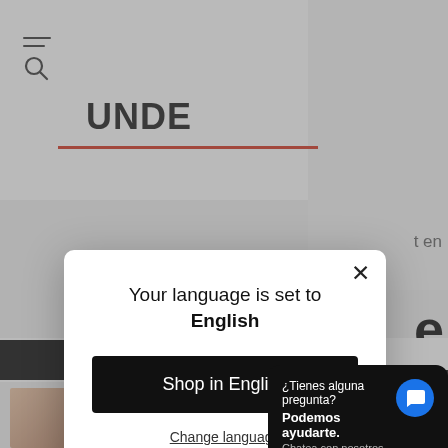[Figure (screenshot): Background of an e-commerce website showing navigation with hamburger/search icon and partial brand name 'UNDE', with red underline accent, gray background.]
Your language is set to English
Shop in English
Change language
Estado:
¿Tienes alguna pregunta? Podemos ayudarte. Chatea con nosotros ahora.